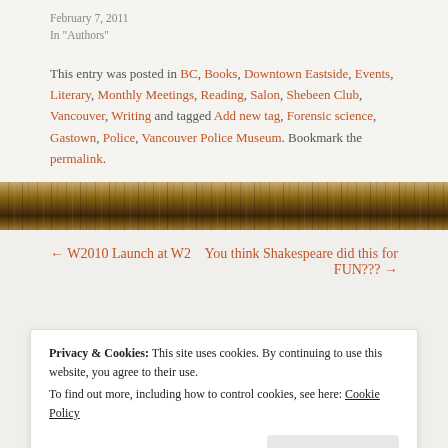February 7, 2011
In "Authors"
This entry was posted in BC, Books, Downtown Eastside, Events, Literary, Monthly Meetings, Reading, Salon, Shebeen Club, Vancouver, Writing and tagged Add new tag, Forensic science, Gastown, Police, Vancouver Police Museum. Bookmark the permalink.
[Figure (photo): A horizontal band showing a row of old books on a shelf, with brown and gold spines visible.]
← W2010 Launch at W2
You think Shakespeare did this for FUN??? →
Privacy & Cookies: This site uses cookies. By continuing to use this website, you agree to their use.
To find out more, including how to control cookies, see here: Cookie Policy
Close and accept